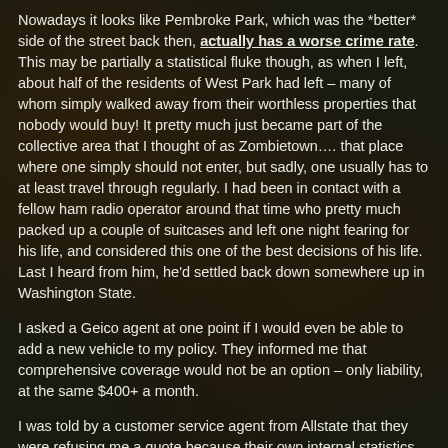Nowadays it looks like Pembroke Park, which was the *better* side of the street back then, actually has a worse crime rate. This may be partially a statistical fluke though, as when I left, about half of the residents of West Park had left – many of whom simply walked away from their worthless properties that nobody would buy! It pretty much just became part of the collective area that I thought of as Zombietown…. that place where one simply should not enter, but sadly, one usually has to at least travel through regularly. I had been in contact with a fellow ham radio operator around that time who pretty much packed up a couple of suitcases and left one night fearing for his life, and considered this one of the best decisions of his life. Last I heard from him, he'd settled back down somewhere up in Washington State.
I asked a Geico agent at one point if I would even be able to add a new vehicle to my policy. They informed me that comprehensive coverage would not be an option – only liability, at the same $400+ a month.
I was told by a customer service agent from Allstate that they were refusing me a quote because their own internal statistics showed that the area was one of the highest risk (this is called...